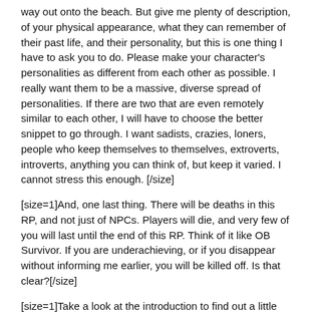way out onto the beach. But give me plenty of description, of your physical appearance, what they can remember of their past life, and their personality, but this is one thing I have to ask you to do. Please make your character's personalities as different from each other as possible. I really want them to be a massive, diverse spread of personalities. If there are two that are even remotely similar to each other, I will have to choose the better snippet to go through. I want sadists, crazies, loners, people who keep themselves to themselves, extroverts, introverts, anything you can think of, but keep it varied. I cannot stress this enough. [/size]
[size=1]And, one last thing. There will be deaths in this RP, and not just of NPCs. Players will die, and very few of you will last until the end of this RP. Think of it like OB Survivor. If you are underachieving, or if you disappear without informing me earlier, you will be killed off. Is that clear?[/size]
[size=1]Take a look at the introduction to find out a little about my character, and PM me if there are any problems.[/size]
[size=1]Happy creating![/size]